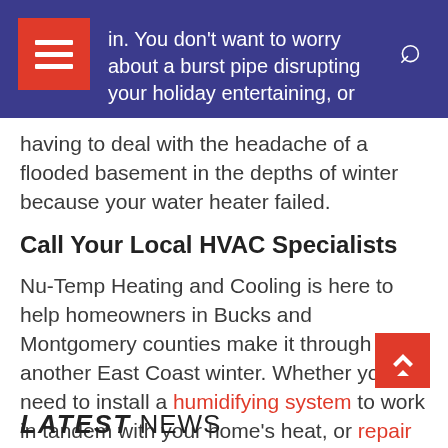in. You don't want to worry about a burst pipe disrupting your holiday entertaining, or
having to deal with the headache of a flooded basement in the depths of winter because your water heater failed.
Call Your Local HVAC Specialists
Nu-Temp Heating and Cooling is here to help homeowners in Bucks and Montgomery counties make it through another East Coast winter. Whether you need to install a humidifying system to work in tandem with your home's heat, or repair your water heater before the next cold snap, our experienced technicians have all your needs covered.
LATEST NEWS